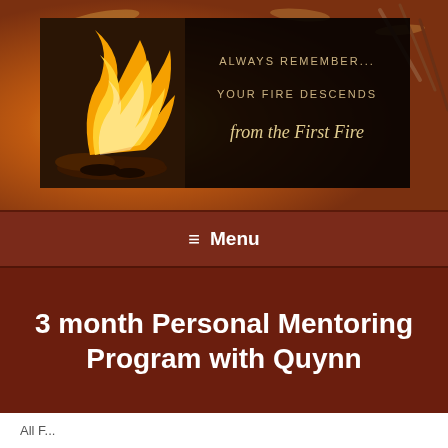[Figure (photo): Website header banner featuring a fireplace with burning logs on the left, and a dark overlay on the right with text reading 'ALWAYS REMEMBER... YOUR FIRE DESCENDS from the First Fire' in gold/tan lettering. Background has decorative elements.]
≡  Menu
3 month Personal Mentoring Program with Quynn
All F...